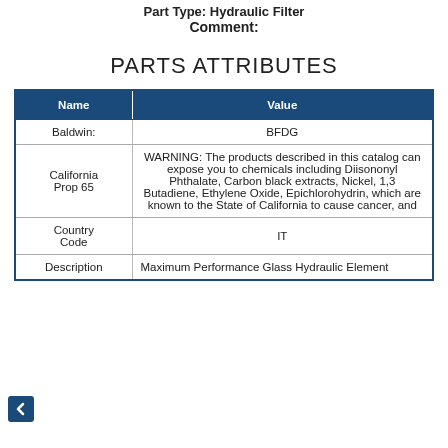Part Type: Hydraulic Filter
Comment:
PARTS ATTRIBUTES
| Name | Value |
| --- | --- |
| Baldwin: | BFDG |
| California Prop 65 | WARNING: The products described in this catalog can expose you to chemicals including Diisononyl Phthalate, Carbon black extracts, Nickel, 1,3 Butadiene, Ethylene Oxide, Epichlorohydrin, which are known to the State of California to cause cancer, and |
| Country Code | IT |
| Description | Maximum Performance Glass Hydraulic Element |